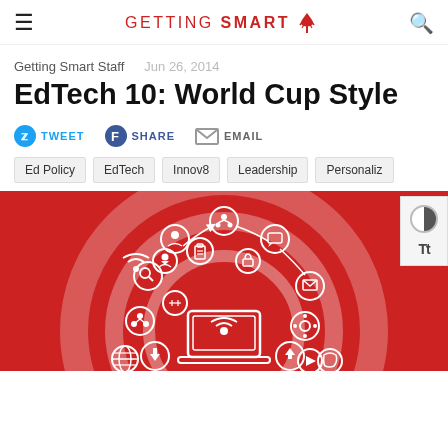≡  GETTING SMART [logo]  🔍
Getting Smart Staff   Jun 26, 2014
EdTech 10: World Cup Style
TWEET  SHARE  EMAIL
Ed Policy  EdTech  Innov8  Leadership  Personaliz
[Figure (illustration): Red background infographic showing a laptop computer in the center surrounded by circular icons representing various digital and social media functions, arranged in a circular pattern with connecting arrows, white icons on red background.]